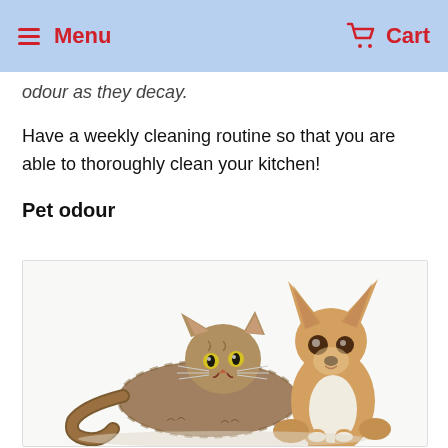Menu  Cart
odour as they decay.
Have a weekly cleaning routine so that you are able to thoroughly clean your kitchen!
Pet odour
[Figure (photo): A tabby cat lying down and a Chihuahua dog sitting side by side on a white background]